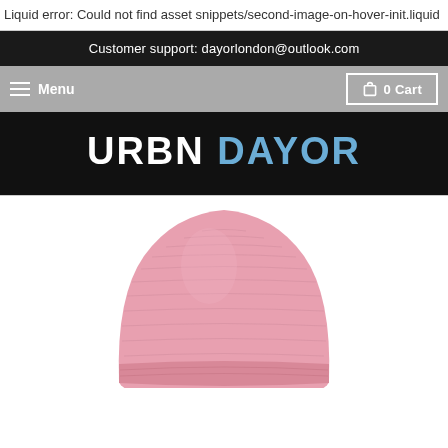Liquid error: Could not find asset snippets/second-image-on-hover-init.liquid
Customer support: dayorlondon@outlook.com
Menu
0 Cart
URBN DAYOR
[Figure (photo): Pink knit beanie hat on white background, viewed from the front/back, dome shape visible]